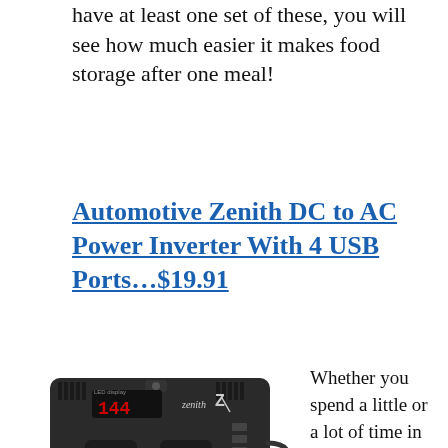have at least one set of these, you will see how much easier it makes food storage after one meal!
Automotive Zenith DC to AC Power Inverter With 4 USB Ports…$19.91
[Figure (photo): Zenith brand DC to AC power inverter with LED display showing 144, two AC outlet ports, and a cigarette lighter plug, shown with cable]
Whether you spend a little or a lot of time in the car, chances are you need to charge